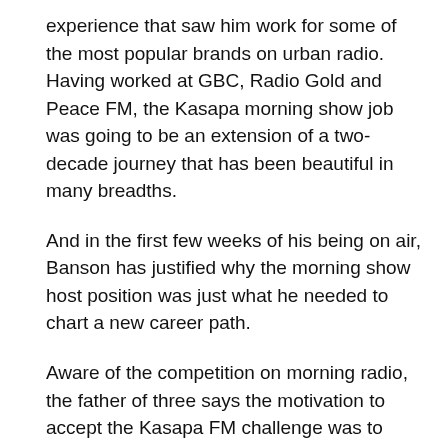experience that saw him work for some of the most popular brands on urban radio. Having worked at GBC, Radio Gold and Peace FM, the Kasapa morning show job was going to be an extension of a two-decade journey that has been beautiful in many breadths.
And in the first few weeks of his being on air, Banson has justified why the morning show host position was just what he needed to chart a new career path.
Aware of the competition on morning radio, the father of three says the motivation to accept the Kasapa FM challenge was to build something entirely different from what he got used to for years.
“I wanted something more challenging; it wasn’t about the money, I wanted to build something new with Kasapa,” Banson